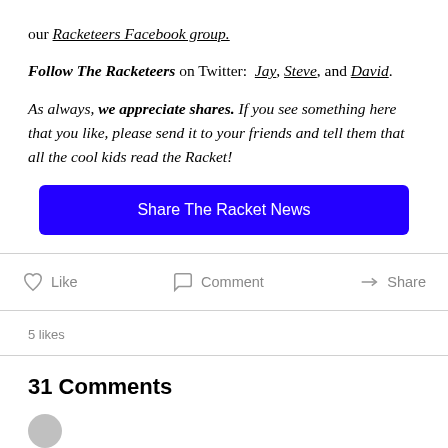our Racketeers Facebook group.
Follow The Racketeers on Twitter: Jay, Steve, and David.
As always, we appreciate shares. If you see something here that you like, please send it to your friends and tell them that all the cool kids read the Racket!
[Figure (other): Blue button labeled 'Share The Racket News']
Like   Comment   Share
5 likes
31 Comments